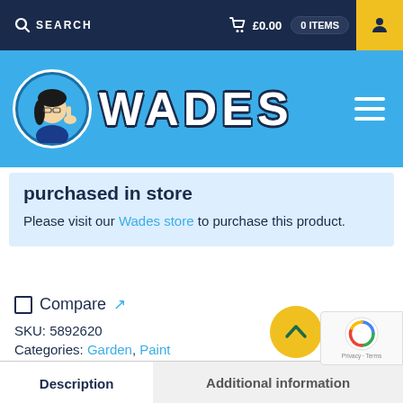SEARCH  £0.00  0 ITEMS
[Figure (logo): Wades store logo with cartoon mascot and WADES text on blue background with hamburger menu icon]
purchased in store
Please visit our Wades store to purchase this product.
Compare [external link icon]
SKU: 5892620
Categories: Garden, Paint
Brand: Rustins
Description  Additional information